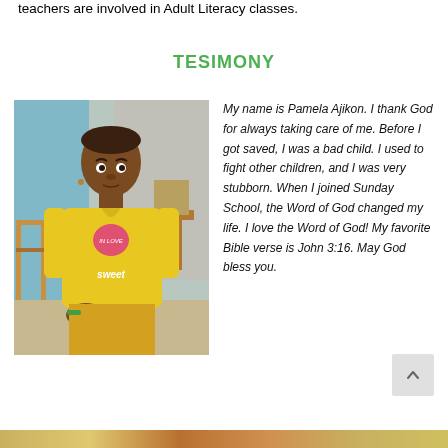teachers are involved in Adult Literacy classes.
TESIMONY
[Figure (photo): A young girl wearing a yellow t-shirt with 'sweet' written on it, standing indoors with a wooden chair and metal walls visible in the background.]
My name is Pamela Ajikon. I thank God for always taking care of me. Before I got saved, I was a bad child. I used to fight other children, and I was very stubborn. When I joined Sunday School, the Word of God changed my life. I love the Word of God! My favorite Bible verse is John 3:16. May God bless you.